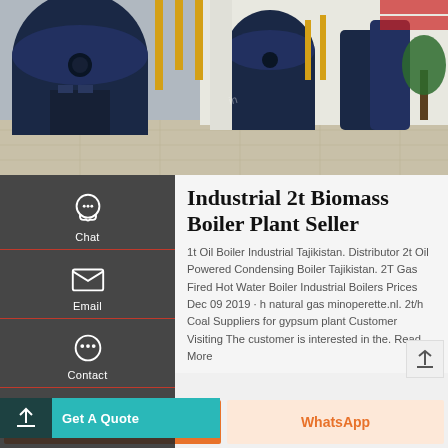[Figure (photo): Industrial boiler plant interior showing large blue cylindrical boilers and yellow piping in a factory setting]
Industrial 2t Biomass Boiler Plant Seller
1t Oil Boiler Industrial Tajikistan. Distributor 2t Oil Powered Condensing Boiler Tajikistan. 2T Gas Fired Hot Water Boiler Industrial Boilers Prices Dec 09 2019 · h natural gas minoperette.nl. 2t/h Coal Suppliers for gypsum plant Customer Visiting The customer is interested in the. Read More